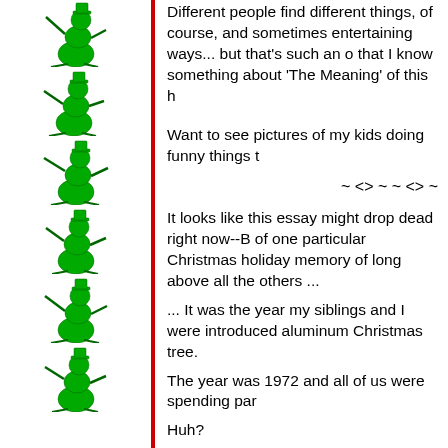[Figure (illustration): Six green snowman cartoon figures arranged vertically on the left column, each depicting a snowman skating or running with a green hat and scarf]
Different people find different things, of course, and sometimes entertaining ways... but that's such an o that I know something about 'The Meaning' of this h
Want to see pictures of my kids doing funny things t
~ <> ~ ~ <> ~
It looks like this essay might drop dead right now--B of one particular Christmas holiday memory of long above all the others ...
... It was the year my siblings and I were introduced aluminum Christmas tree.
The year was 1972 and all of us were spending par
Huh?
You've never heard of aluminum Christmas trees?
Um, how about the Wham-O Air Blaster? Big Whee